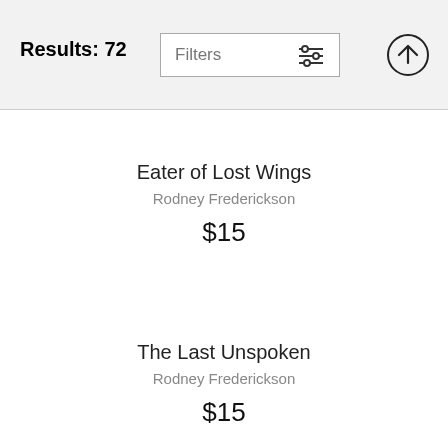Results: 72
Filters
Eater of Lost Wings
Rodney Frederickson
$15
The Last Unspoken
Rodney Frederickson
$15
Warrior As One